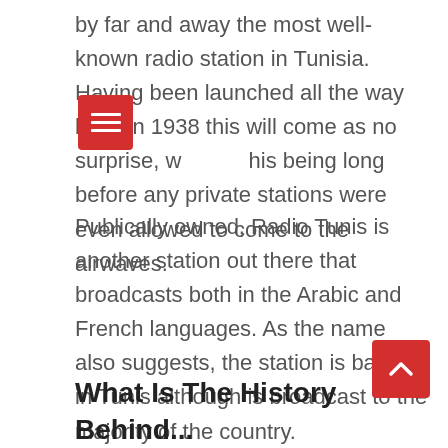by far and away the most well-known radio station in Tunisia. Having been launched all the way back in 1938 this will come as no surprise, with this being long before any private stations were even allowed to come to the airwaves.
Publically owned, Radio Tunis is another station out there that broadcasts both in the Arabic and French languages. As the name also suggests, the station is based in Tunis although is broadcast to the majority of the country.
What Is The History Behind...